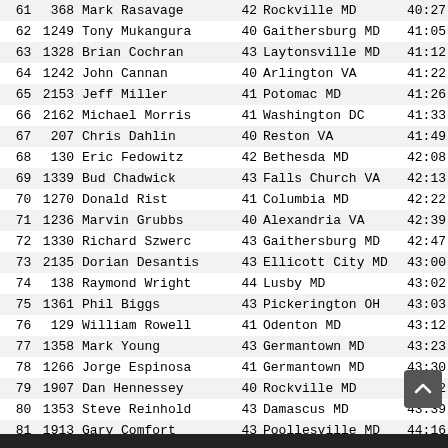| Place | Bib | Name | Age | City | Time |
| --- | --- | --- | --- | --- | --- |
| 61 | 368 | Mark Rasavage | 42 | Rockville MD | 40:27 |
| 62 | 1249 | Tony Mukangura | 40 | Gaithersburg MD | 41:05 |
| 63 | 1328 | Brian Cochran | 43 | Laytonsville MD | 41:12 |
| 64 | 1242 | John Cannan | 40 | Arlington VA | 41:22 |
| 65 | 2153 | Jeff Miller | 41 | Potomac MD | 41:26 |
| 66 | 2162 | Michael Morris | 41 | Washington DC | 41:33 |
| 67 | 207 | Chris Dahlin | 40 | Reston VA | 41:49 |
| 68 | 130 | Eric Fedowitz | 42 | Bethesda MD | 42:08 |
| 69 | 1339 | Bud Chadwick | 43 | Falls Church VA | 42:13 |
| 70 | 1270 | Donald Rist | 41 | Columbia MD | 42:22 |
| 71 | 1236 | Marvin Grubbs | 40 | Alexandria VA | 42:39 |
| 72 | 1330 | Richard Szwerc | 43 | Gaithersburg MD | 42:47 |
| 73 | 2135 | Dorian Desantis | 43 | Ellicott City MD | 43:00 |
| 74 | 138 | Raymond Wright | 44 | Lusby MD | 43:02 |
| 75 | 1361 | Phil Biggs | 43 | Pickerington OH | 43:03 |
| 76 | 129 | William Rowell | 41 | Odenton MD | 43:12 |
| 77 | 1358 | Mark Young | 43 | Germantown MD | 43:23 |
| 78 | 1266 | Jorge Espinosa | 41 | Germantown MD | 43:30 |
| 79 | 1907 | Dan Hennessey | 40 | Rockville MD | 43:32 |
| 80 | 1353 | Steve Reinhold | 43 | Damascus MD | 43:39 |
| 81 | 1913 | Gary Comfort | 43 | Poollesville MD | 44:16 |
| 82 | 1282 | Abiy Zewde | 41 | Montgomery Vill MD | 44:38 |
| 83 | 1264 | Mark Schactman | 41 | Baltimore MD | 44:40 |